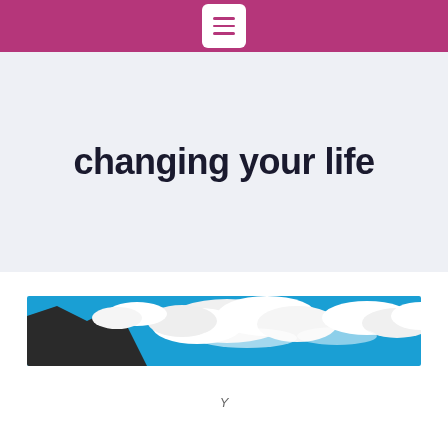changing your life
[Figure (photo): Wide landscape photo of a blue sky with white clouds and dark mountain silhouettes on the left side]
Y...